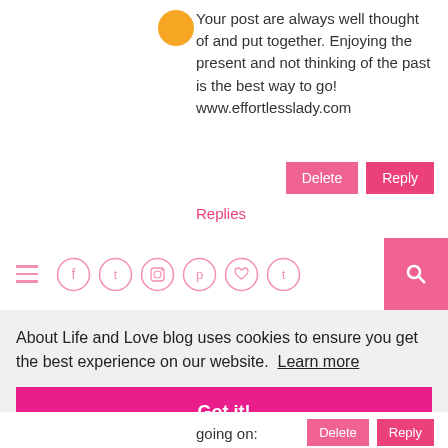Your post are always well thought of and put together. Enjoying the present and not thinking of the past is the best way to go! www.effortlesslady.com
Replies
[Figure (screenshot): Navigation bar with hamburger menu, social media icons (Facebook, Twitter, Instagram, Pinterest, heart/Bloglovin, Tumblr) and a pink search button]
About Life and Love blog uses cookies to ensure you get the best experience on our website.  Learn more
Got it!
going on: